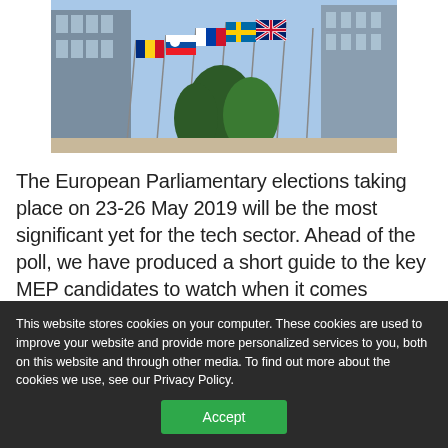[Figure (photo): European Parliament building with multiple EU member state flags flying in front, including flags of Slovakia, Sweden, UK and others, against a blue sky with trees visible]
The European Parliamentary elections taking place on 23-26 May 2019 will be the most significant yet for the tech sector. Ahead of the poll, we have produced a short guide to the key MEP candidates to watch when it comes
This website stores cookies on your computer. These cookies are used to improve your website and provide more personalized services to you, both on this website and through other media. To find out more about the cookies we use, see our Privacy Policy.